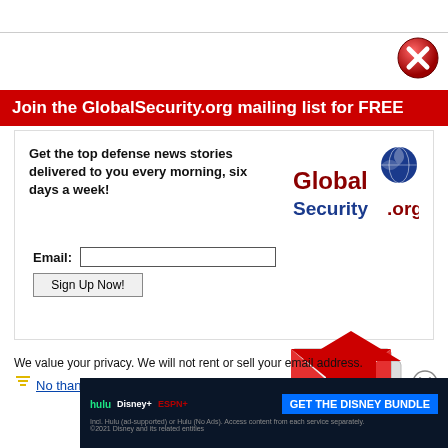[Figure (screenshot): Red circle X close button in upper right]
Join the GlobalSecurity.org mailing list for FREE
Get the top defense news stories delivered to you every morning, six days a week!
[Figure (logo): GlobalSecurity.org logo with globe graphic]
Email: [input field] Sign Up Now! [button]
[Figure (illustration): Email envelope icon with red arrow]
We value your privacy. We will not rent or sell your email address.
No thanks, take me to GlobalSecurity.org
[Figure (screenshot): Disney Bundle advertisement banner - Hulu, Disney+, ESPN+]